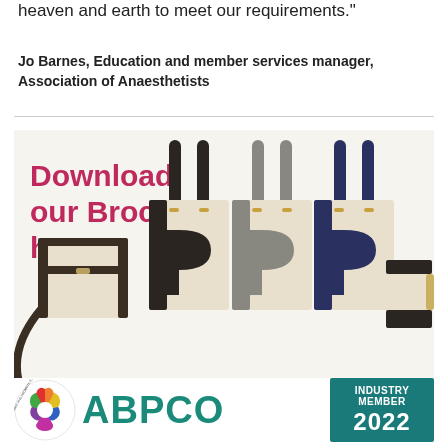heaven and earth to meet our requirements."
Jo Barnes, Education and member services manager, Association of Anaesthetists
[Figure (photo): Photo of several tote bags and messenger bags in beige/cream with black, grey, and navy accents, displayed against a light background. Overlaid text reads 'Download our Brochure here...' in pink/magenta bold font.]
[Figure (logo): ABPCO logo with colorful hands circular emblem and teal ABPCO text, plus an 'Industry Member 2022' badge in teal.]